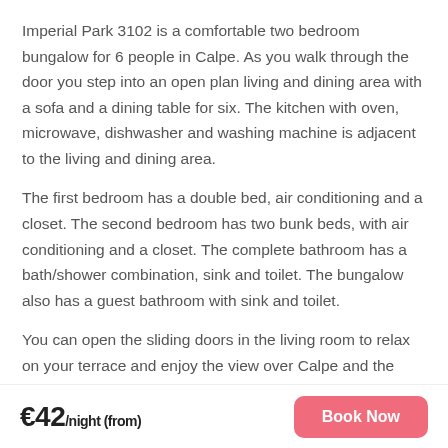Imperial Park 3102 is a comfortable two bedroom bungalow for 6 people in Calpe. As you walk through the door you step into an open plan living and dining area with a sofa and a dining table for six. The kitchen with oven, microwave, dishwasher and washing machine is adjacent to the living and dining area.
The first bedroom has a double bed, air conditioning and a closet. The second bedroom has two bunk beds, with air conditioning and a closet. The complete bathroom has a bath/shower combination, sink and toilet. The bungalow also has a guest bathroom with sink and toilet.
You can open the sliding doors in the living room to relax on your terrace and enjoy the view over Calpe and the beautiful sea.
For a fee you can use the jacuzzis, saunas, Turkish baths and
€42/night (from)   Book Now